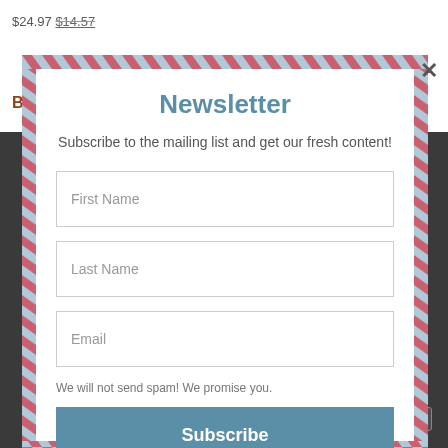$24.97 $14.57
BFT Starter Preset Pack
Newsletter
Subscribe to the mailing list and get our fresh content!
First Name
Last Name
Email
We will not send spam! We promise you.
Subscribe
Close and accept